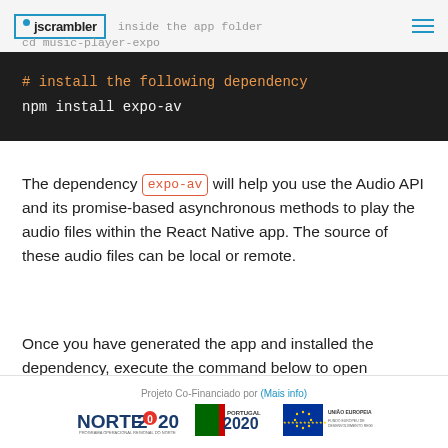jscrambler | inside the app folder
cd music-player-expo
[Figure (screenshot): Dark code block showing: # install the following dependency
npm install expo-av]
The dependency expo-av will help you use the Audio API and its promise-based asynchronous methods to play the audio files within the React Native app. The source of these audio files can be local or remote.
Once you have generated the app and installed the dependency, execute the command below to open
Projeto Co-Financiado por (Mais info)